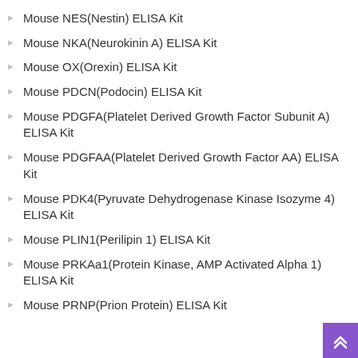Mouse NES(Nestin) ELISA Kit
Mouse NKA(Neurokinin A) ELISA Kit
Mouse OX(Orexin) ELISA Kit
Mouse PDCN(Podocin) ELISA Kit
Mouse PDGFA(Platelet Derived Growth Factor Subunit A) ELISA Kit
Mouse PDGFAA(Platelet Derived Growth Factor AA) ELISA Kit
Mouse PDK4(Pyruvate Dehydrogenase Kinase Isozyme 4) ELISA Kit
Mouse PLIN1(Perilipin 1) ELISA Kit
Mouse PRKAa1(Protein Kinase, AMP Activated Alpha 1) ELISA Kit
Mouse PRNP(Prion Protein) ELISA Kit